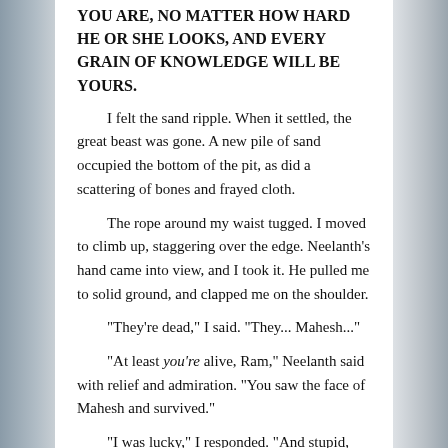YOU ARE, NO MATTER HOW HARD HE OR SHE LOOKS, AND EVERY GRAIN OF KNOWLEDGE WILL BE YOURS.
I felt the sand ripple. When it settled, the great beast was gone. A new pile of sand occupied the bottom of the pit, as did a scattering of bones and frayed cloth.
The rope around my waist tugged. I moved to climb up, staggering over the edge. Neelanth’s hand came into view, and I took it. He pulled me to solid ground, and clapped me on the shoulder.
“They’re dead,” I said. “They... Mahesh...”
“At least you’re alive, Ram,” Neelanth said with relief and admiration. “You saw the face of Mahesh and survived.”
“I was lucky,” I responded. “And stupid, like